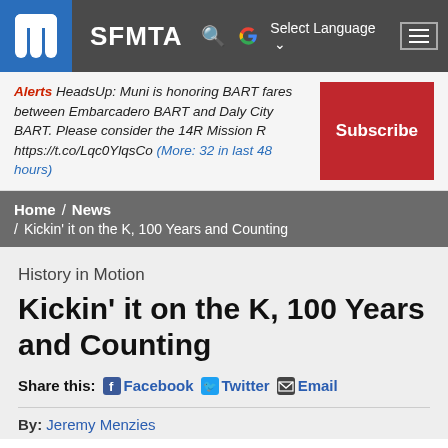SFMTA
Alerts HeadsUp: Muni is honoring BART fares between Embarcadero BART and Daly City BART. Please consider the 14R Mission R https://t.co/Lqc0YlqsCo (More: 32 in last 48 hours)
Subscribe
Home / News / Kickin' it on the K, 100 Years and Counting
History in Motion
Kickin' it on the K, 100 Years and Counting
Share this: Facebook Twitter Email
By: Jeremy Menzies